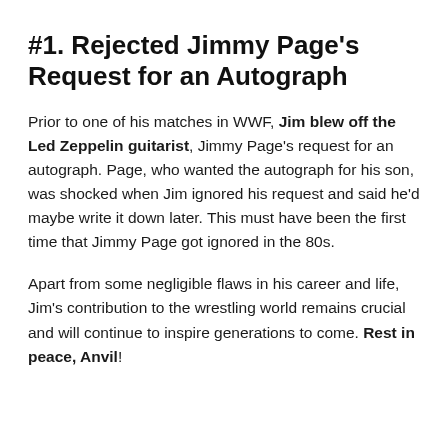#1. Rejected Jimmy Page's Request for an Autograph
Prior to one of his matches in WWF, Jim blew off the Led Zeppelin guitarist, Jimmy Page's request for an autograph. Page, who wanted the autograph for his son, was shocked when Jim ignored his request and said he'd maybe write it down later. This must have been the first time that Jimmy Page got ignored in the 80s.
Apart from some negligible flaws in his career and life, Jim's contribution to the wrestling world remains crucial and will continue to inspire generations to come. Rest in peace, Anvil!